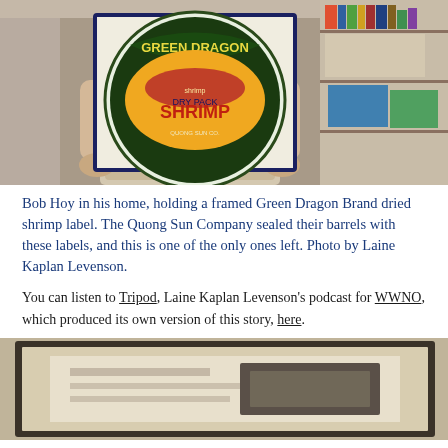[Figure (photo): Bob Hoy standing indoors holding a large framed Green Dragon Brand Dry Pack Shrimp label by the Quong Sun Company. Bookshelves and filing materials visible in the background.]
Bob Hoy in his home, holding a framed Green Dragon Brand dried shrimp label. The Quong Sun Company sealed their barrels with these labels, and this is one of the only ones left. Photo by Laine Kaplan Levenson.
You can listen to Tripod, Laine Kaplan Levenson's podcast for WWNO, which produced its own version of this story, here.
[Figure (photo): A framed document or artifact with dark border, appearing to show some kind of historical record or label mounted on beige/kraft paper background.]